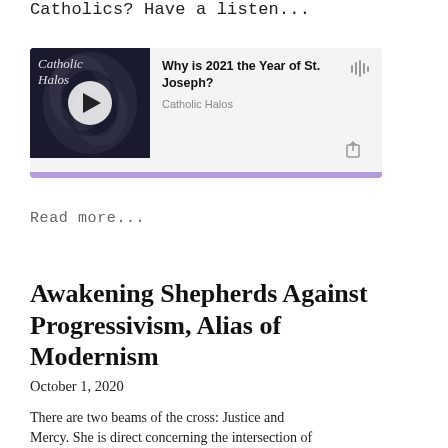Catholics? Have a listen...
[Figure (other): Podcast widget for 'Why is 2021 the Year of St. Joseph?' by Catholic Halos, with thumbnail image, play button, waveform icon, share icon, and purple progress bar.]
Read more...
Awakening Shepherds Against Progressivism, Alias of Modernism
October 1, 2020
There are two beams of the cross: Justice and Mercy. She is direct concerning the intersection of